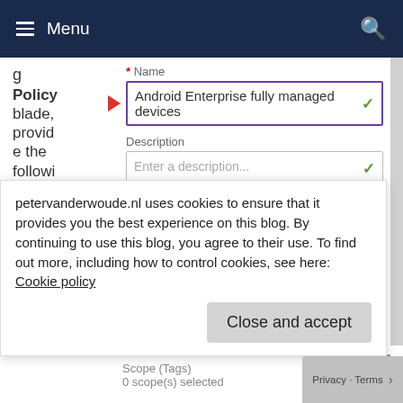Menu
g Policy blade, provide the following information and
* Name
Android Enterprise fully managed devices
Description
Enter a description...
* Platform
Android Enterprise
* Profile type
Device owner
petervanderwoude.nl uses cookies to ensure that it provides you the best experience on this blog. By continuing to use this blog, you agree to their use. To find out more, including how to control cookies, see here: Cookie policy
Close and accept
Scope (Tags)
Privacy - Terms